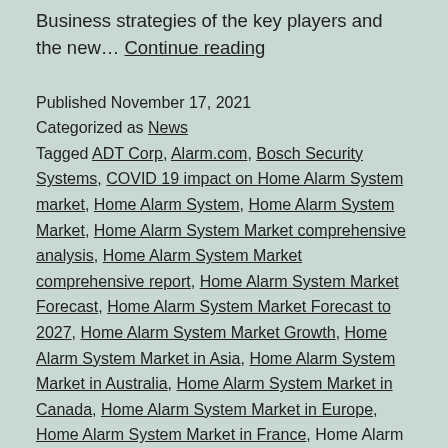Business strategies of the key players and the new… Continue reading
Published November 17, 2021
Categorized as News
Tagged ADT Corp, Alarm.com, Bosch Security Systems, COVID 19 impact on Home Alarm System market, Home Alarm System, Home Alarm System Market, Home Alarm System Market comprehensive analysis, Home Alarm System Market comprehensive report, Home Alarm System Market Forecast, Home Alarm System Market Forecast to 2027, Home Alarm System Market Growth, Home Alarm System Market in Asia, Home Alarm System Market in Australia, Home Alarm System Market in Canada, Home Alarm System Market in Europe, Home Alarm System Market in France, Home Alarm System…